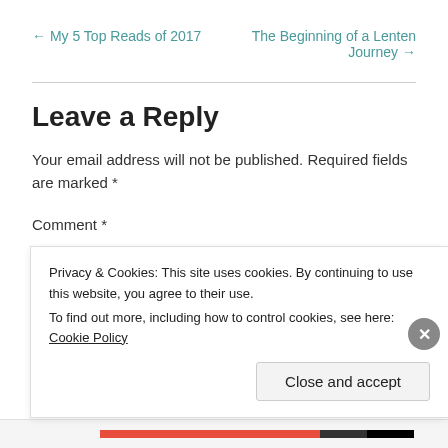← My 5 Top Reads of 2017
The Beginning of a Lenten Journey →
Leave a Reply
Your email address will not be published. Required fields are marked *
Comment *
Privacy & Cookies: This site uses cookies. By continuing to use this website, you agree to their use.
To find out more, including how to control cookies, see here: Cookie Policy
Close and accept